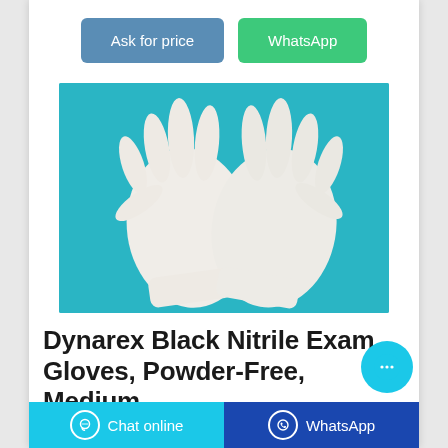[Figure (other): Two buttons: 'Ask for price' (blue-grey) and 'WhatsApp' (green)]
[Figure (photo): Two white latex/nitrile exam gloves laid flat on a cyan/teal background]
Dynarex Black Nitrile Exam Gloves, Powder-Free, Medium ...
[Figure (other): Floating cyan chat bubble button with ellipsis icon]
[Figure (other): Bottom bar with 'Chat online' (cyan) and 'WhatsApp' (blue) buttons]